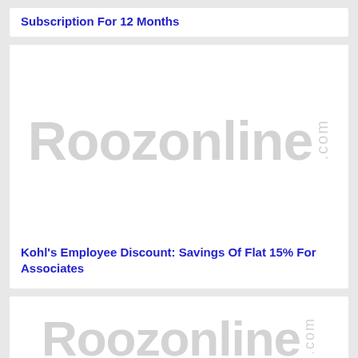Subscription For 12 Months
[Figure (logo): Roozonline.com watermark logo placeholder image]
Kohl's Employee Discount: Savings Of Flat 15% For Associates
[Figure (logo): Roozonline.com watermark logo placeholder image (partial)]